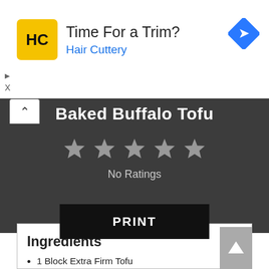[Figure (screenshot): Hair Cuttery advertisement banner with yellow logo showing 'HC', text 'Time For a Trim?' and 'Hair Cuttery', blue navigation arrow icon, play and X controls]
Baked Buffalo Tofu
[Figure (other): Five grey stars rating display]
No Ratings
PRINT
Ingredients
1 Block Extra Firm Tofu
Franks Red Hot Buffalo Wing Sauce